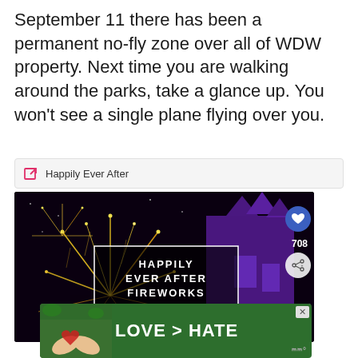September 11 there has been a permanent no-fly zone over all of WDW property. Next time you are walking around the parks, take a glance up. You won't see a single plane flying over you.
Happily Ever After
[Figure (photo): Video thumbnail showing Cinderella's Castle with purple lighting and fireworks at night, overlaid with text 'HAPPILY EVER AFTER FIREWORKS'. UI elements include a heart/like button, share button showing count 708, and a 'What's Next' overlay showing 'Cinderella's Royal Table...']
[Figure (photo): Advertisement banner with green background showing hands forming a heart shape, text 'LOVE > HATE']